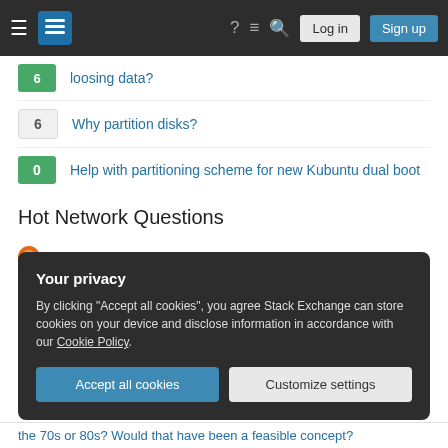Stack Exchange — Log in | Sign up
6 · loosing data?
6 · Why partition disks?
0 · Help with partitioning scheme for new Kubuntu dual boot
Hot Network Questions
Calculation of average of sums is very slow
Did John von Neumann prove any unsolved problem in mathematics?
How can photons have an electric field without having a charge?
The Oracle's IQ Test
Your privacy
By clicking "Accept all cookies", you agree Stack Exchange can store cookies on your device and disclose information in accordance with our Cookie Policy.
the 70s or 80s? Would that have been a feasible concept?